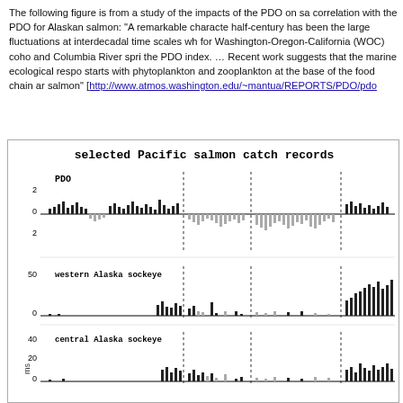The following figure is from a study of the impacts of the PDO on sa correlation with the PDO for Alaskan salmon: "A remarkable characte half-century has been the large fluctuations at interdecadal time scales wh for Washington-Oregon-California (WOC) coho and Columbia River spri the PDO index. … Recent work suggests that the marine ecological respo starts with phytoplankton and zooplankton at the base of the food chain ar salmon" [http://www.atmos.washington.edu/~mantua/REPORTS/PDO/pdo
[Figure (continuous-plot): Multi-panel bar chart titled 'selected Pacific salmon catch records' showing PDO index (top panel, bars above and below zero, range ~+2 to -2), western Alaska sockeye catch (middle panel, 0-50 scale), and central Alaska sockeye catch (bottom panel, 0-40 scale with 20 marked). Dashed vertical lines mark regime shifts. Black bars indicate positive/high values, gray bars indicate negative/low values.]